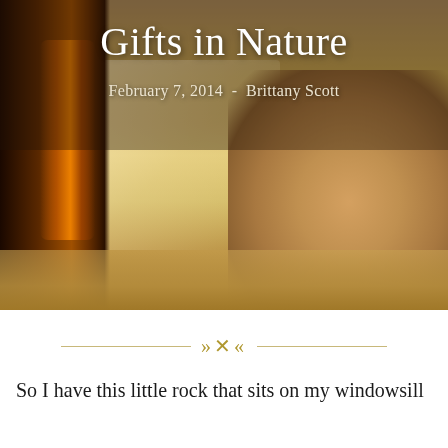[Figure (photo): A warm, golden-toned photograph showing a small rock or natural object on a windowsill, with a dark glass bottle on the left side and soft window light in the background.]
Gifts in Nature
February 7, 2014  -  Brittany Scott
So I have this little rock that sits on my windowsill